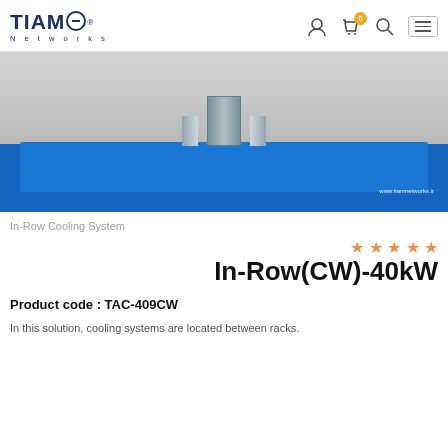TIAMO Networks — header with logo and navigation icons
[Figure (photo): Product photo showing a blue in-row cooling unit on a gray floor. A metallic enclosure is visible at center. Website watermark: www.tiamnetworks.ir]
In-Row Cooling System
[Figure (other): Five empty star rating icons in orange outline]
In-Row(CW)-40kW
Product code : TAC-409CW
In this solution, cooling systems are located between racks.